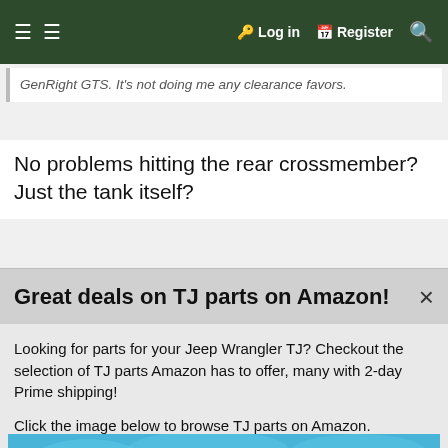≡  Login  Register  🔍
GenRight GTS. It's not doing me any clearance favors.
No problems hitting the rear crossmember? Just the tank itself?
Great deals on TJ parts on Amazon!
Looking for parts for your Jeep Wrangler TJ? Checkout the selection of TJ parts Amazon has to offer, many with 2-day Prime shipping!
Click the image below to browse TJ parts on Amazon.
[Figure (illustration): Amazon advertisement banner for TJ Jeep Wrangler parts. Blue background with text 'SHOP ON AMAZON FOR GREAT DEALS ON TJ PARTS' and illustration of a Jeep Wrangler with a yellow starburst saying 'CLICK HERE TO SHOP ON AMAZON'.]